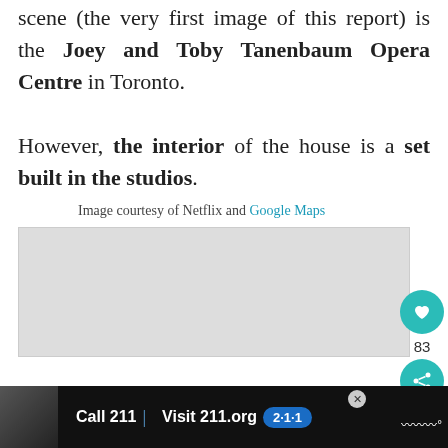scene (the very first image of this report) is the Joey and Toby Tanenbaum Opera Centre in Toronto.
However, the interior of the house is a set built in the studios.
Image courtesy of Netflix and Google Maps
[Figure (photo): Placeholder image area with navigation dots below]
[Figure (screenshot): Advertisement bar at bottom: Call 211 | Visit 211.org with 2-1-1 badge logo]